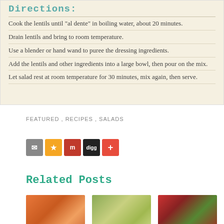Directions:
Cook the lentils until "al dente" in boiling water, about 20 minutes.
Drain lentils and bring to room temperature.
Use a blender or hand wand to puree the dressing ingredients.
Add the lentils and other ingredients into a large bowl, then pour on the mix.
Let salad rest at room temperature for 30 minutes, mix again, then serve.
FEATURED , RECIPES , SALADS
Related Posts
[Figure (photo): Three food photos showing related recipes: a pumpkin soup, a chickpea salad, and a tomato salad]